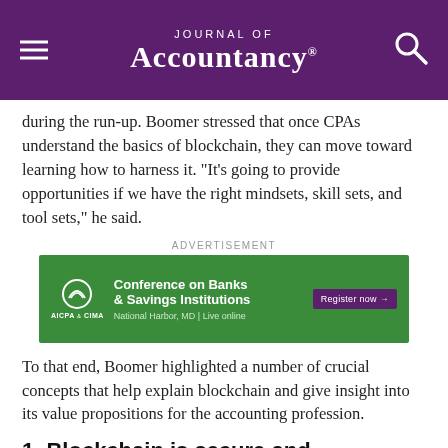Journal of Accountancy
during the run-up. Boomer stressed that once CPAs understand the basics of blockchain, they can move toward learning how to harness it. “It’s going to provide opportunities if we have the right mindsets, skill sets, and tool sets,” he said.
[Figure (other): AICPA & CIMA advertisement banner for Conference on Banks & Savings Institutions, National Harbor, MD | Live online. Green background with Register now button.]
To that end, Boomer highlighted a number of crucial concepts that help explain blockchain and give insight into its value propositions for the accounting profession.
1. Blockchain is secure and immutable
“While everyone thinks of the internet as public, blockchain protects transactions and increases the security and privacy,” Boomer said. In theory it cannot be hacked because that